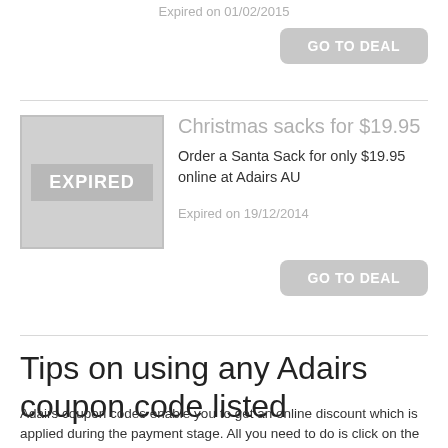Expired on 01/02/2015
GO TO DEAL
Christmas sacks for $19.95
Order a Santa Sack for only $19.95 online at Adairs AU
Expired on 19/12/2014
GO TO DEAL
Tips on using any Adairs coupon code listed
Adairs coupon codes enable you to get an online discount which is applied during the payment stage. All you need to do is click on the